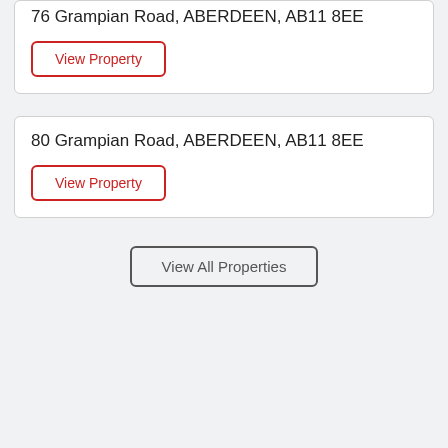76 Grampian Road, ABERDEEN, AB11 8EE
View Property
80 Grampian Road, ABERDEEN, AB11 8EE
View Property
View All Properties